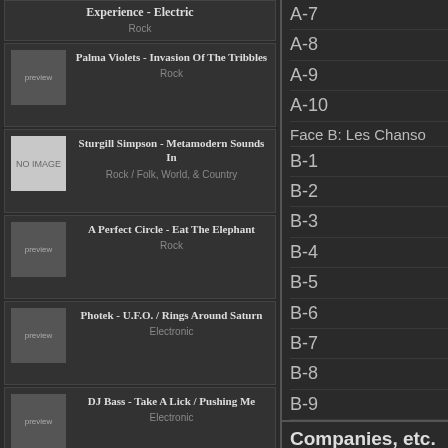Experience - Electric
Rock
Palma Violets - Invasion Of The Tribbles
Rock
Sturgill Simpson - Metamodern Sounds In
Rock / Folk, World, & Country
A Perfect Circle - Eat The Elephant
Rock
Photek - U.F.O. / Rings Around Saturn
Electronic
DJ Bass - Take A Lick / Pushing Me
Electronic
A-7
A-8
A-9
A-10
Face B: Les Chanso
B-1
B-2
B-3
B-4
B-5
B-6
B-7
B-8
B-9
Companies, etc.